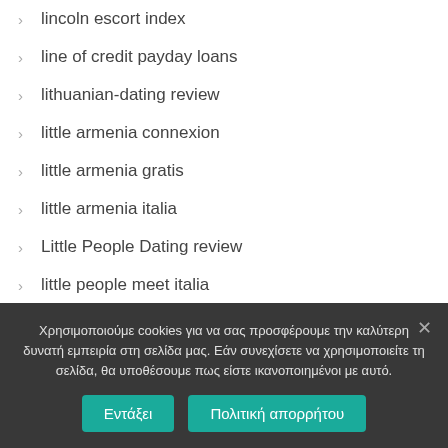lincoln escort index
line of credit payday loans
lithuanian-dating review
little armenia connexion
little armenia gratis
little armenia italia
Little People Dating review
little people meet italia
little-people-dating-nl Review
Χρησιμοποιούμε cookies για να σας προσφέρουμε την καλύτερη δυνατή εμπειρία στη σελίδα μας. Εάν συνεχίσετε να χρησιμοποιείτε τη σελίδα, θα υποθέσουμε πως είστε ικανοποιημένοι με αυτό.
Εντάξει
Πολιτική απορρήτου